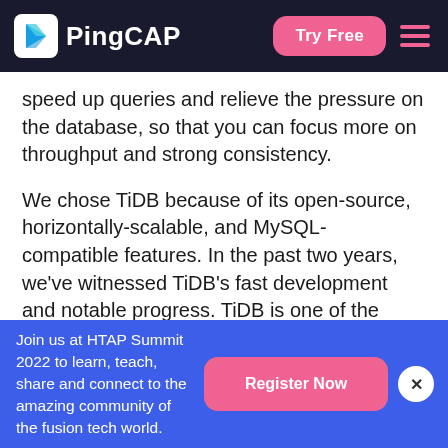PingCAP | Try Free
speed up queries and relieve the pressure on the database, so that you can focus more on throughput and strong consistency.
We chose TiDB because of its open-source, horizontally-scalable, and MySQL- compatible features. In the past two years, we've witnessed TiDB's fast development and notable progress. TiDB is one of the most important database infrastructures at Shopee, and we're using it in more and more scenarios. In the future, TiDB will serve more traffic from Sho...
Join us at HTAP Summit 2022 to learn, teach, share and connect to the amazing community of the fusion tech world.